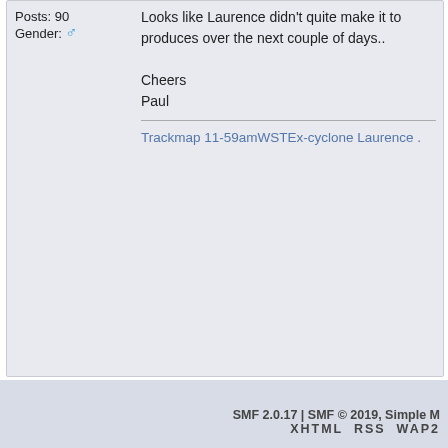Posts: 90
Gender: ♂
Looks like Laurence didn't quite make it to
produces over the next couple of days..

Cheers
Paul
Trackmap 11-59amWSTEx-cyclone Laurence .
Pages: 1 [2]   Go Up
Storm Australian Severe Weather Forum » Severe Weather Discussion » Tropical Cyclo
Topic: 1st Low of the 2009/2010 Australian season : Tropical Cyclone Laurence
Jump to:  => Tro
SMF 2.0.17 | SMF © 2019, Simple M
XHTML   RSS   WAP2